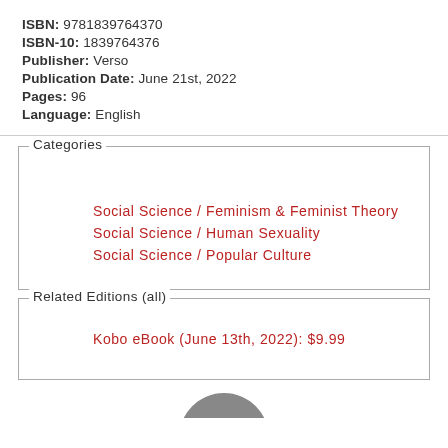ISBN: 9781839764370
ISBN-10: 1839764376
Publisher: Verso
Publication Date: June 21st, 2022
Pages: 96
Language: English
Categories
Social Science / Feminism & Feminist Theory
Social Science / Human Sexuality
Social Science / Popular Culture
Related Editions (all)
Kobo eBook (June 13th, 2022): $9.99
[Figure (photo): Partial circular image at bottom of page]